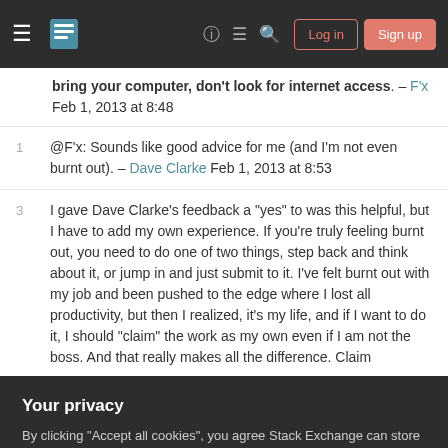Stack Exchange navigation bar with Log in and Sign up buttons
bring your computer, don't look for internet access. – F'x Feb 1, 2013 at 8:48
@F'x: Sounds like good advice for me (and I'm not even burnt out). – Dave Clarke Feb 1, 2013 at 8:53
I gave Dave Clarke's feedback a "yes" to was this helpful, but I have to add my own experience. If you're truly feeling burnt out, you need to do one of two things, step back and think about it, or jump in and just submit to it. I've felt burnt out with my job and been pushed to the edge where I lost all productivity, but then I realized, it's my life, and if I want to do it, I should "claim" the work as my own even if I am not the boss. And that really makes all the difference. Claim
[Figure (screenshot): Cookie consent dialog: 'Your privacy' heading, explanatory text, Accept all cookies and Customize settings buttons on dark background]
extent it comes with academic research as you are